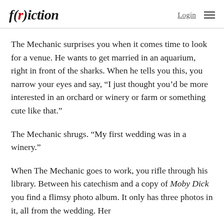f(r)iction  Login ≡
The Mechanic surprises you when it comes time to look for a venue. He wants to get married in an aquarium, right in front of the sharks. When he tells you this, you narrow your eyes and say, “I just thought you’d be more interested in an orchard or winery or farm or something cute like that.”
The Mechanic shrugs. “My first wedding was in a winery.”
When The Mechanic goes to work, you rifle through his library. Between his catechism and a copy of Moby Dick you find a flimsy photo album. It only has three photos in it, all from the wedding. Her